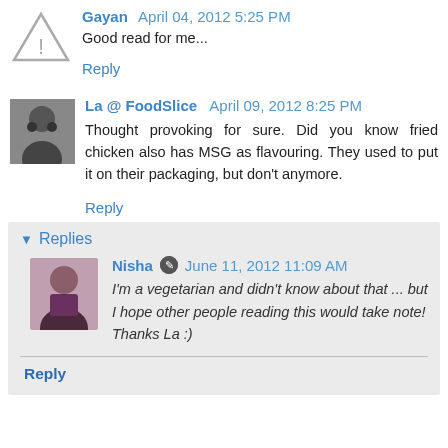Gayan April 04, 2012 5:25 PM
Good read for me...
Reply
La @ FoodSlice April 09, 2012 8:25 PM
Thought provoking for sure. Did you know fried chicken also has MSG as flavouring. They used to put it on their packaging, but don't anymore.
Reply
Replies
Nisha June 11, 2012 11:09 AM
I'm a vegetarian and didn't know about that ... but I hope other people reading this would take note! Thanks La :)
Reply